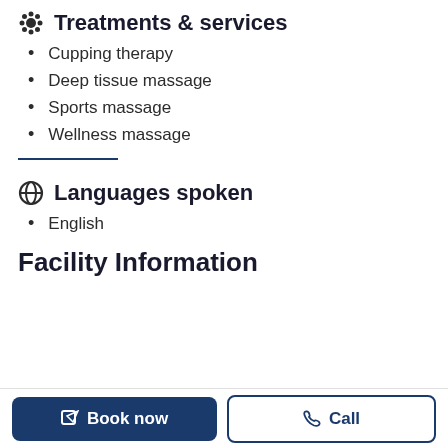Treatments & services
Cupping therapy
Deep tissue massage
Sports massage
Wellness massage
Languages spoken
English
Facility Information